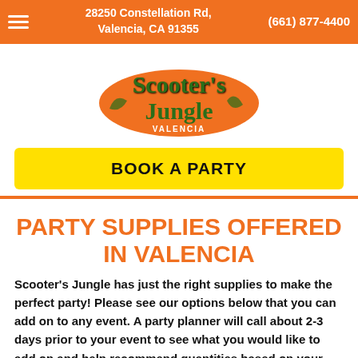28250 Constellation Rd, Valencia, CA 91355 | (661) 877-4400
[Figure (logo): Scooter's Jungle Valencia logo on orange circle]
BOOK A PARTY
PARTY SUPPLIES OFFERED IN VALENCIA
Scooter's Jungle has just the right supplies to make the perfect party! Please see our options below that you can add on to any event. A party planner will call about 2-3 days prior to your event to see what you would like to add on and help recommend quantities based on your head count. Take the stress out of guessing how many goodie bags you need because you only pay for the ones you use. So relax, fun and Pick Up as